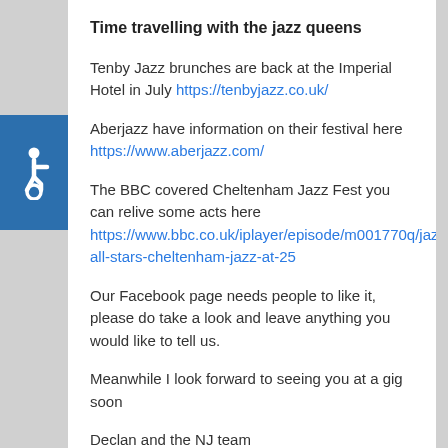[Figure (illustration): Accessibility icon (wheelchair symbol) on blue background square on the left margin]
Time travelling with the jazz queens
Tenby Jazz brunches are back at the Imperial Hotel in July https://tenbyjazz.co.uk/
Aberjazz have information on their festival here https://www.aberjazz.com/
The BBC covered Cheltenham Jazz Fest you can relive some acts here https://www.bbc.co.uk/iplayer/episode/m001770q/jazz-all-stars-cheltenham-jazz-at-25
Our Facebook page needs people to like it, please do take a look and leave anything you would like to tell us.
Meanwhile I look forward to seeing you at a gig soon
Declan and the NJ team
Posted in news